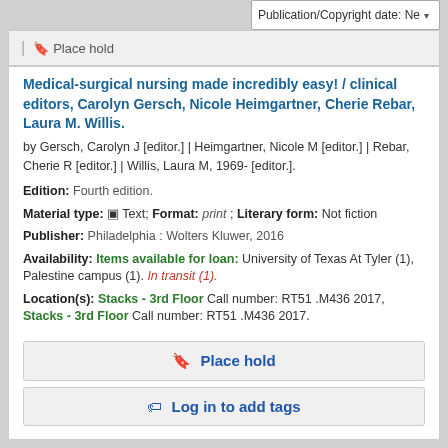Publication/Copyright date: Ne
| Place hold
Medical-surgical nursing made incredibly easy! / clinical editors, Carolyn Gersch, Nicole Heimgartner, Cherie Rebar, Laura M. Willis.
by Gersch, Carolyn J [editor.] | Heimgartner, Nicole M [editor.] | Rebar, Cherie R [editor.] | Willis, Laura M, 1969- [editor.].
Edition: Fourth edition.
Material type: Text; Format: print ; Literary form: Not fiction
Publisher: Philadelphia : Wolters Kluwer, 2016
Availability: Items available for loan: University of Texas At Tyler (1), Palestine campus (1). In transit (1).
Location(s): Stacks - 3rd Floor Call number: RT51 .M436 2017, Stacks - 3rd Floor Call number: RT51 .M436 2017.
Place hold
Log in to add tags